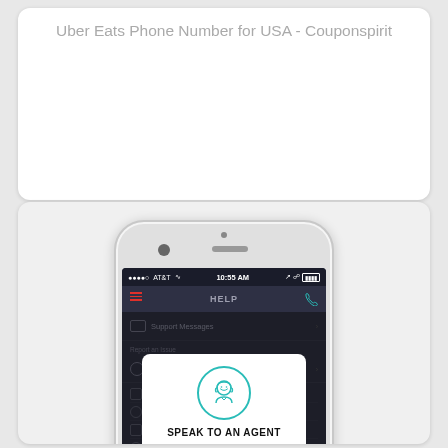Uber Eats Phone Number for USA - Couponspirit
[Figure (screenshot): Screenshot of a smartphone showing the Uber app Help screen with a modal dialog titled 'SPEAK TO AN AGENT' showing an illustrated agent icon, description text 'Speak to an Uber Agent over the phone to help resolve your issue', and two buttons: 'CALL SUPPORT' and 'CANCEL'. The app screen shows AT&T carrier, 10:55 AM time, and a HELP navigation screen with Support Messages and Report an Issue sections visible in the background.]